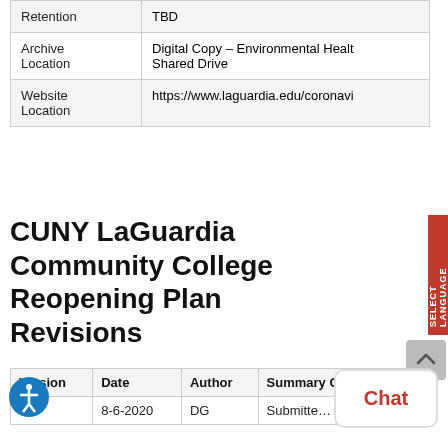|  |  |
| --- | --- |
| Retention | TBD |
| Archive Location | Digital Copy – Environmental Health Shared Drive |
| Website Location | https://www.laguardia.edu/coronavi |
CUNY LaGuardia Community College Reopening Plan Revisions
| Version | Date | Author | Summary Chang… |
| --- | --- | --- | --- |
| 1 | 8-6-2020 | DG | Submitte… |